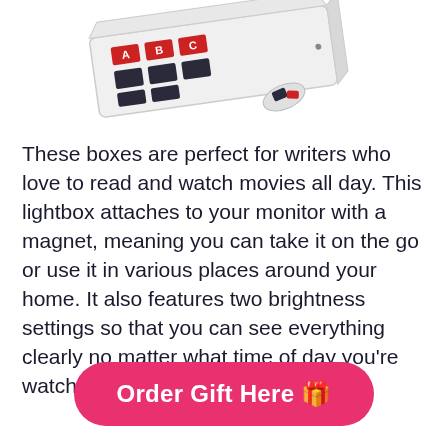[Figure (photo): Partial view of a lightbox product with letter tiles, shown from above/angled, white box with red and dark letter tiles visible, some loose tiles nearby]
These boxes are perfect for writers who love to read and watch movies all day. This lightbox attaches to your monitor with a magnet, meaning you can take it on the go or use it in various places around your home. It also features two brightness settings so that you can see everything clearly no matter what time of day you're watching!
Order Gift Here 🎁